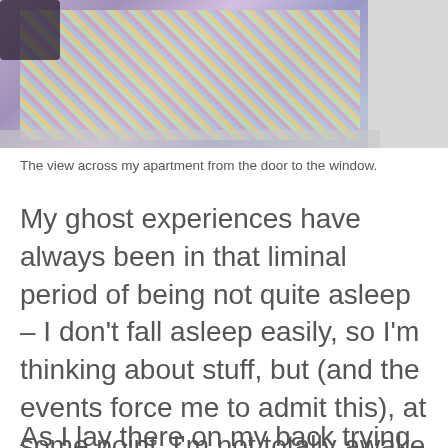[Figure (photo): Photo of a bedroom interior showing a bed with a colorful checkered/plaid cover in purple, blue, green and yellow tones, viewed from the doorway toward the window. A grey wall is visible on the right side.]
The view across my apartment from the door to the window.
My ghost experiences have always been in that liminal period of being not quite asleep – I don't fall asleep easily, so I'm thinking about stuff, but (and the events force me to admit this), at some point, I'm not totally awake either. But this was unprecedented. There were two events in the space of ten minutes. At this point, I wasn't just awake – I was hyper-awake.
As I lay there on my back trying to get my head